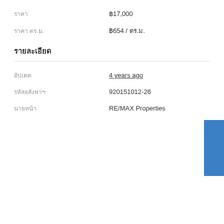ราคา ฿17,000
ราคา ตร.ม. ฿654 / ตร.ม.
รายละเอียด
อัปเดต 4 years ago
รหัสอสังหาฯ 920151012-26
นายหน้า RE/MAX Properties
[Figure (logo): RE/MAX Properties logo on blue background]